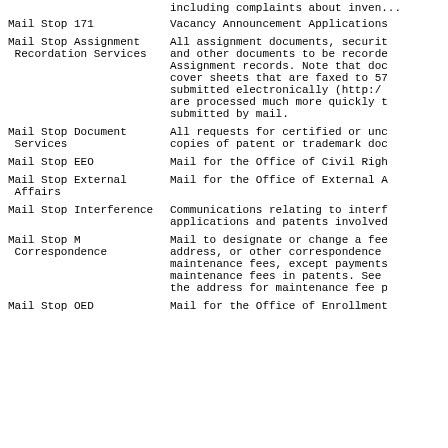including complaints about inven...
Mail Stop 171 — Vacancy Announcement Applications
Mail Stop Assignment Recordation Services — All assignment documents, securities and other documents to be recorded in Assignment records. Note that documents with cover sheets that are faxed to 57... or submitted electronically (http:/...) are processed much more quickly than submitted by mail.
Mail Stop Document Services — All requests for certified or uncertified copies of patent or trademark documents
Mail Stop EEO — Mail for the Office of Civil Rights
Mail Stop External Affairs — Mail for the Office of External Affairs
Mail Stop Interference — Communications relating to interferences, applications and patents involved
Mail Stop M Correspondence — Mail to designate or change a fee address, or other correspondence regarding maintenance fees, except payments of maintenance fees in patents. See the address for maintenance fee payments.
Mail Stop OED — Mail for the Office of Enrollment